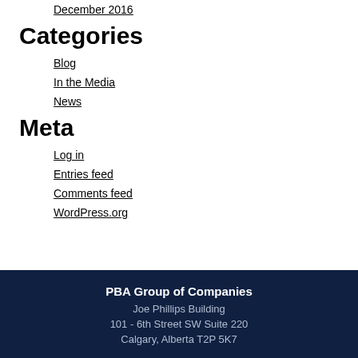December 2016
Categories
Blog
In the Media
News
Meta
Log in
Entries feed
Comments feed
WordPress.org
PBA Group of Companies
Joe Phillips Building
101 - 6th Street SW Suite 220
Calgary, Alberta T2P 5K7